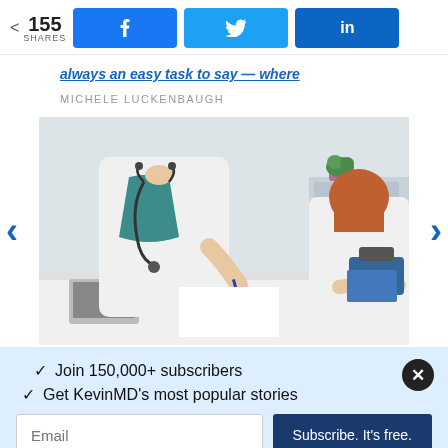< 155 SHARES  [Facebook] [Twitter] [LinkedIn]
always an easy task to say — where
MICHELE LUCKENBAUGH
[Figure (photo): Doctor in white coat with stethoscope sitting at desk across from a patient, both with hands on the desk; a blood pressure monitor visible on the right side]
✓  Join 150,000+ subscribers
✓  Get KevinMD's most popular stories
Email  Subscribe. It's free.